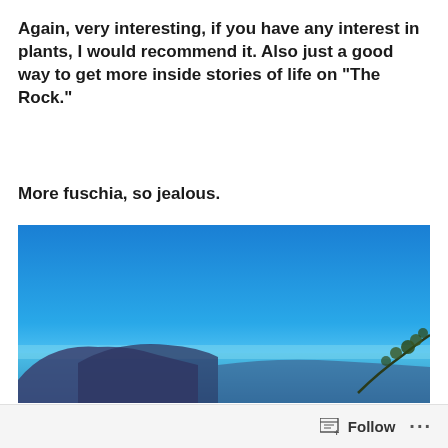Again, very interesting, if you have any interest in plants, I would recommend it. Also just a good way to get more inside stories of life on “The Rock.”
More fuschia, so jealous.
[Figure (photo): Outdoor scenic photo showing a bright blue sky taking up the upper two-thirds of the frame, with a body of blue water and dark silhouetted hills or islands in the lower portion, and a branch with leaves visible in the bottom right corner.]
Follow ...